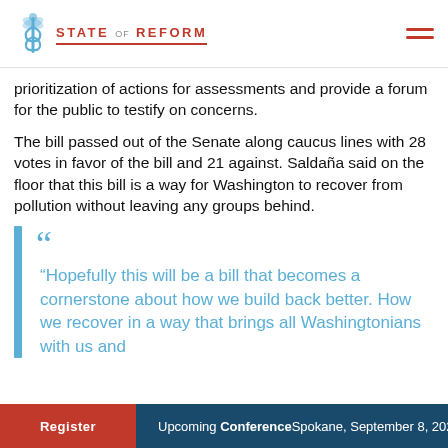State of Reform
prioritization of actions for assessments and provide a forum for the public to testify on concerns.
The bill passed out of the Senate along caucus lines with 28 votes in favor of the bill and 21 against. Saldaña said on the floor that this bill is a way for Washington to recover from pollution without leaving any groups behind.
“Hopefully this will be a bill that becomes a cornerstone about how we build back better. How we recover in a way that brings all Washingtonians with us and…
Register   Upcoming Conference   Spokane, September 8, 2022